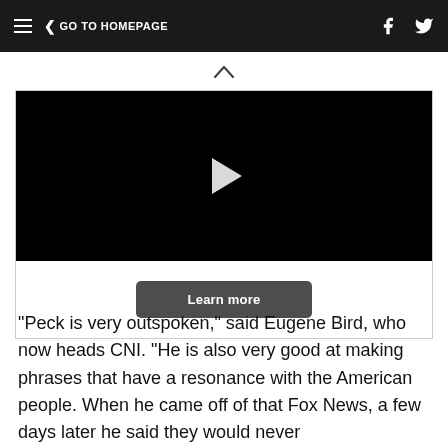≡  < GO TO HOMEPAGE
[Figure (screenshot): Video player with black screen showing a play button triangle, and a 'Learn more' button below on white background]
"Peck is very outspoken," said Eugene Bird, who now heads CNI. "He is also very good at making phrases that have a resonance with the American people. When he came off of that Fox News, a few days later he said they would never